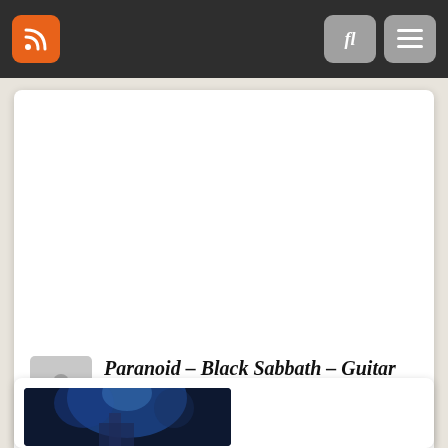Navigation bar with RSS, search, and menu buttons
Paranoid – Black Sabbath – Guitar Cover
Cover Black, Coverversion Black Sabbath, Songcover Hard Rock, Coverversion Paranoid, Cover Rock, Live Evil, paranoid, Search Chor Black Sabbath.
Zaproszenie na mj nowy kanal.
0
[Figure (photo): Concert photo with blue stage lighting showing a performer on stage]